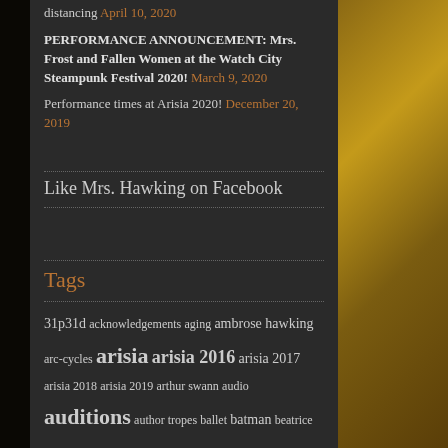distancing April 10, 2020
PERFORMANCE ANNOUNCEMENT: Mrs. Frost and Fallen Women at the Watch City Steampunk Festival 2020! March 9, 2020
Performance times at Arisia 2020! December 20, 2019
Like Mrs. Hawking on Facebook
Tags
31p31d acknowledgements aging ambrose hawking arc-cycles arisia arisia 2016 arisia 2017 arisia 2018 arisia 2019 arthur swann audio auditions author tropes ballet batman beatrice